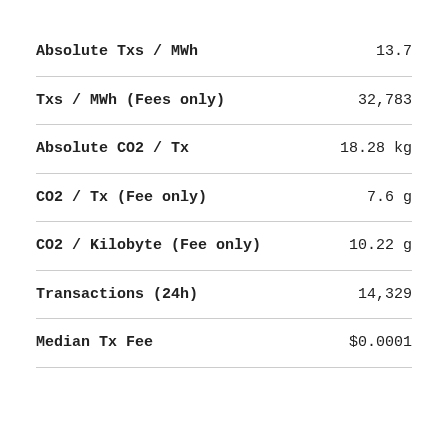| Metric | Value |
| --- | --- |
| Absolute Txs / MWh | 13.7 |
| Txs / MWh (Fees only) | 32,783 |
| Absolute CO2 / Tx | 18.28 kg |
| CO2 / Tx (Fee only) | 7.6 g |
| CO2 / Kilobyte (Fee only) | 10.22 g |
| Transactions (24h) | 14,329 |
| Median Tx Fee | $0.0001 |